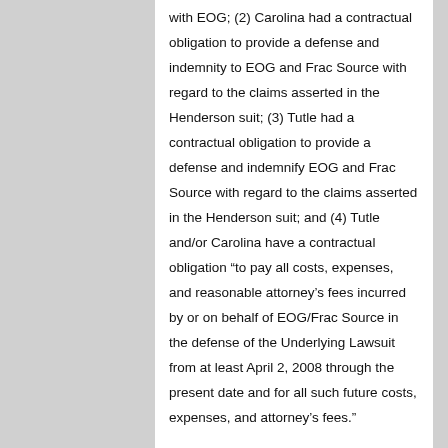with EOG; (2) Carolina had a contractual obligation to provide a defense and indemnity to EOG and Frac Source with regard to the claims asserted in the Henderson suit; (3) Tutle had a contractual obligation to provide a defense and indemnify EOG and Frac Source with regard to the claims asserted in the Henderson suit; and (4) Tutle and/or Carolina have a contractual obligation "to pay all costs, expenses, and reasonable attorney's fees incurred by or on behalf of EOG/Frac Source in the defense of the Underlying Lawsuit from at least April 2, 2008 through the present date and for all such future costs, expenses, and attorney's fees."